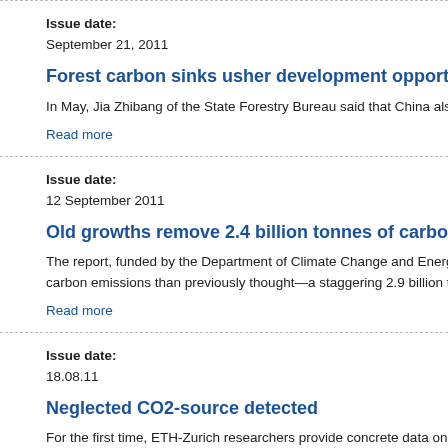Issue date: September 21, 2011
Forest carbon sinks usher development opportunit…
In May, Jia Zhibang of the State Forestry Bureau said that China also…
Read more
Issue date: 12 September 2011
Old growths remove 2.4 billion tonnes of carbon pe…
The report, funded by the Department of Climate Change and Energy… carbon emissions than previously thought—a staggering 2.9 billion to…
Read more
Issue date: 18.08.11
Neglected CO2-source detected
For the first time, ETH-Zurich researchers provide concrete data on h…